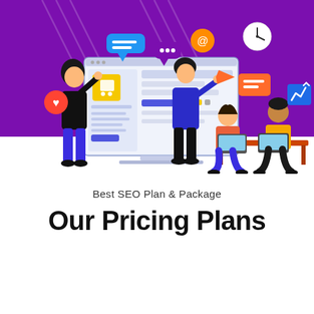[Figure (illustration): Digital marketing illustration with purple background. Left side shows a woman in black outfit standing beside a large laptop/monitor displaying a web interface with yellow shopping cart icon and blue button. A man in blue jacket and black pants stands in the center gesturing. On the right, two people sit at a desk with laptops — one woman in coral/pink jacket and one man in yellow shirt. Various floating icons around them: speech bubble, heart, dots, email/at symbol, orange paper plane, orange message icon, clock/compass, analytics line chart icon. Diagonal white stripe lines decorate the purple background.]